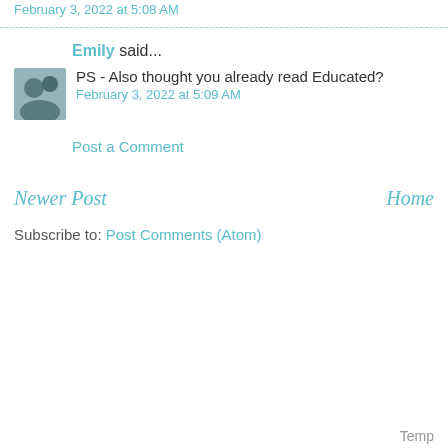February 3, 2022 at 5:08 AM
Emily said...
PS - Also thought you already read Educated?
February 3, 2022 at 5:09 AM
Post a Comment
Newer Post
Home
Subscribe to: Post Comments (Atom)
Temp